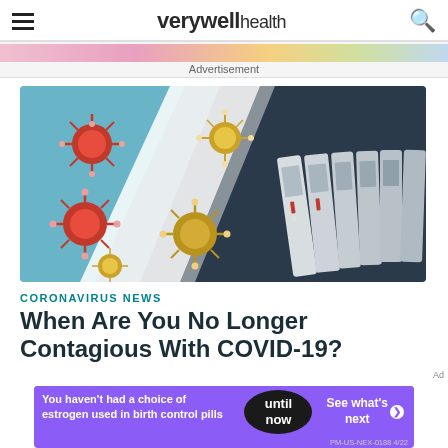verywell health
Advertisement
[Figure (illustration): 3D illustration showing COVID-19 virus particles (red, yellow/gold) on a torn paper background revealing a row of rapid antigen test cassettes lined up like dominoes]
CORONAVIRUS NEWS
When Are You No Longer Contagious With COVID-19?
[Figure (infographic): Advertisement banner: purple background with text 'You haven't had a choice of estrogen used in birth control pills' with black circle badge 'until now' and white text 'See what's next ❯' and fine print 'PM-US-NEX-0188 4/22']